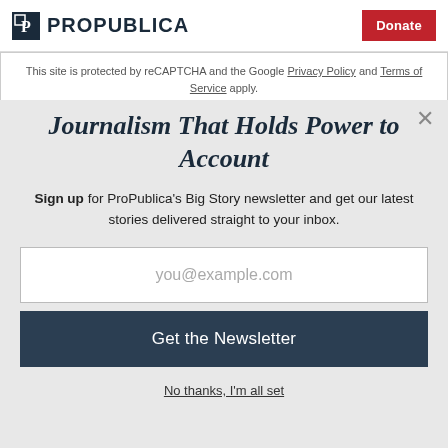ProPublica | Donate
This site is protected by reCAPTCHA and the Google Privacy Policy and Terms of Service apply.
Journalism That Holds Power to Account
Sign up for ProPublica’s Big Story newsletter and get our latest stories delivered straight to your inbox.
you@example.com
Get the Newsletter
No thanks, I’m all set
This site is protected by reCAPTCHA and the Google Privacy Policy and Terms of Service apply.